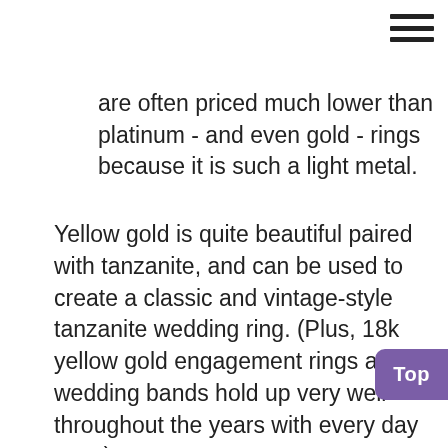are often priced much lower than platinum - and even gold - rings because it is such a light metal.
Yellow gold is quite beautiful paired with tanzanite, and can be used to create a classic and vintage-style tanzanite wedding ring. (Plus, 18k yellow gold engagement rings and wedding bands hold up very well throughout the years with every day wear).
White gold also looks quite flattering paired with tanzanite gemstones, but couples will need to decide if they want to commit to re-plating the rhodium on a regular basis (necessary to maintain the white color of white gold). Also, because tanzanite should not be exposed to ultrasonic or steam cleaning a tanzanite ring should be cleaned by someone familiar with...